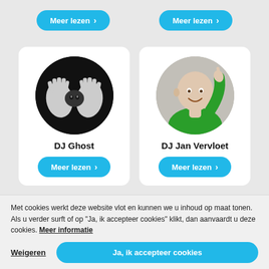[Figure (other): Two 'Meer lezen' buttons at the top of the page, teal/cyan colored with arrow icons]
[Figure (photo): DJ Ghost - black and white photo of a man holding his hands up beside his face, in a circular frame on a white card]
DJ Ghost
[Figure (other): Meer lezen button for DJ Ghost]
[Figure (photo): DJ Jan Vervloet - color photo of a bald man in a green shirt pointing, in a circular frame on a white card]
DJ Jan Vervloet
[Figure (other): Meer lezen button for DJ Jan Vervloet]
Met cookies werkt deze website vlot en kunnen we u inhoud op maat tonen. Als u verder surft of op "Ja, ik accepteer cookies" klikt, dan aanvaardt u deze cookies. Meer informatie
Weigeren
Ja, ik accepteer cookies